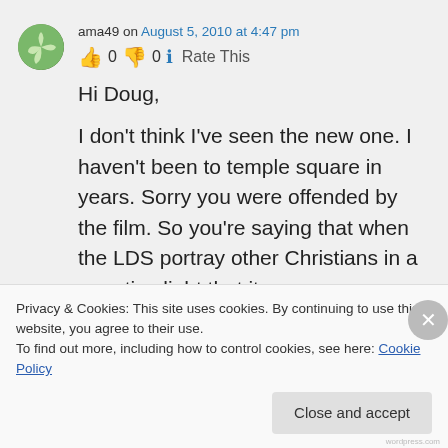ama49 on August 5, 2010 at 4:47 pm
👍 0 👎 0 ℹ Rate This
Hi Doug,

I don't think I've seen the new one. I haven't been to temple square in years. Sorry you were offended by the film. So you're saying that when the LDS portray other Christians in a negative light that it
Privacy & Cookies: This site uses cookies. By continuing to use this website, you agree to their use.
To find out more, including how to control cookies, see here: Cookie Policy
Close and accept